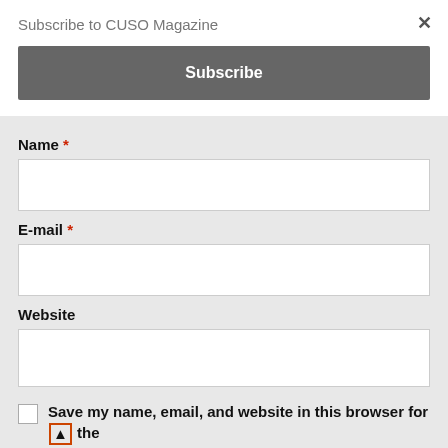Subscribe to CUSO Magazine
Subscribe
Name *
E-mail *
Website
Save my name, email, and website in this browser for the next time I comment.